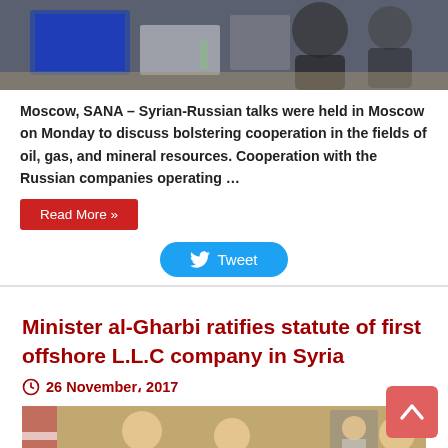[Figure (photo): Photo of men in suits at a meeting table with laptops, top portion visible]
Moscow, SANA – Syrian-Russian talks were held in Moscow on Monday to discuss bolstering cooperation in the fields of oil, gas, and mineral resources. Cooperation with the Russian companies operating …
Read More »
Tweet
Minister al-Gharbi ratifies statute of first offshore L.L.C company in Syria
26 November، 2017
[Figure (photo): Photo of officials at a meeting, Syrian flag visible, portrait on wall in background]